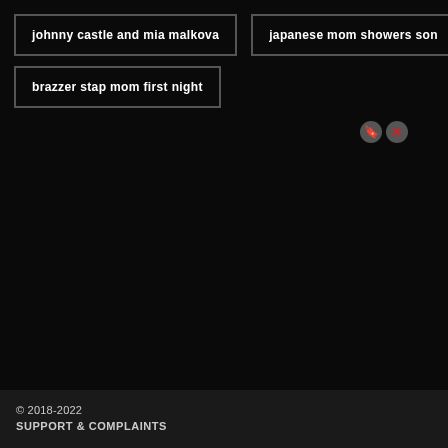johnny castle and mia malkova
japanese mom showers son
brazzer stap mom first night
[Figure (other): Two small circular icon buttons — a bookmark icon and an X/close icon]
© 2018-2022
SUPPORT & COMPLAINTS